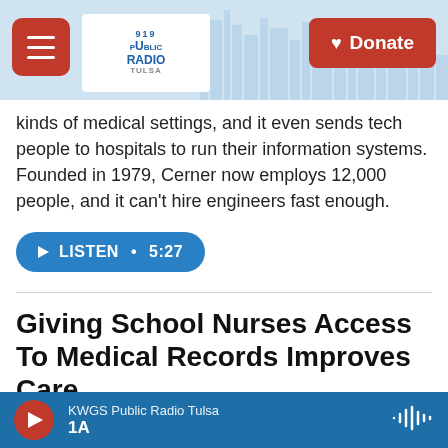[Figure (screenshot): Public Radio Tulsa website header with hamburger menu button, logo, skyline illustration background, and red Donate button]
kinds of medical settings, and it even sends tech people to hospitals to run their information systems. Founded in 1979, Cerner now employs 12,000 people, and it can't hire engineers fast enough.
[Figure (other): Blue rounded pill-shaped Listen button with play icon and duration 5:27]
Giving School Nurses Access To Medical Records Improves Care
Michelle Andrews,  June 10, 2014
Students come to the school nurse for help with
KWGS Public Radio Tulsa  1A